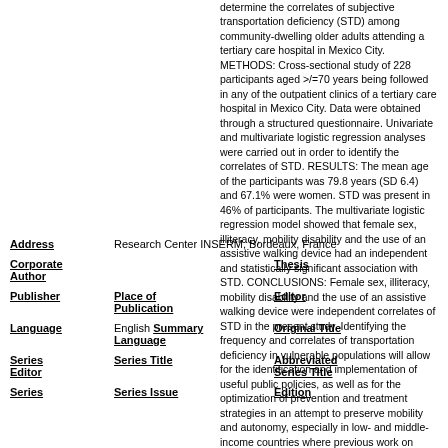determine the correlates of subjective transportation deficiency (STD) among community-dwelling older adults attending a tertiary care hospital in Mexico City. METHODS: Cross-sectional study of 228 participants aged >/=70 years being followed in any of the outpatient clinics of a tertiary care hospital in Mexico City. Data were obtained through a structured questionnaire. Univariate and multivariate logistic regression analyses were carried out in order to identify the correlates of STD. RESULTS: The mean age of the participants was 79.8 years (SD 6.4) and 67.1% were women. STD was present in 46% of participants. The multivariate logistic regression model showed that female sex, illiteracy, mobility disability and the use of an assistive walking device had an independent and statistically significant association with STD. CONCLUSIONS: Female sex, illiteracy, mobility disability and the use of an assistive walking device were independent correlates of STD in the present study. Identifying the frequency and correlates of transportation deficiency in vulnerable populations will allow for the identification and implementation of useful public policies, as well as for the optimization of prevention and treatment strategies in an attempt to preserve mobility and autonomy, especially in low- and middle-income countries where previous work on transportation deficiency is lacking. Geriatr Gerontol Int 2016; : -**.
Address: Research Center INSERM, Bordeaux, France
Corporate Author
Thesis
Publisher
Place of Publication
Editor
Language: English
Summary Language
Original Title
Series Editor
Series Title
Abbreviated Series Title
Series
Series Issue
Edition